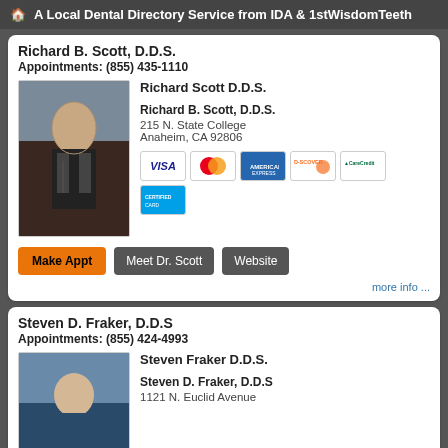A Local Dental Directory Service from IDA & 1stWisdomTeeth
Richard B. Scott, D.D.S.
Appointments: (855) 435-1110
Richard Scott D.D.S.
Richard B. Scott, D.D.S.
215 N. State College
Anaheim, CA 92806
Make Appt | Meet Dr. Scott | Website
more info ...
Steven D. Fraker, D.D.S
Appointments: (855) 424-4993
Steven Fraker D.D.S.
Steven D. Fraker, D.D.S
1121 N. Euclid Avenue